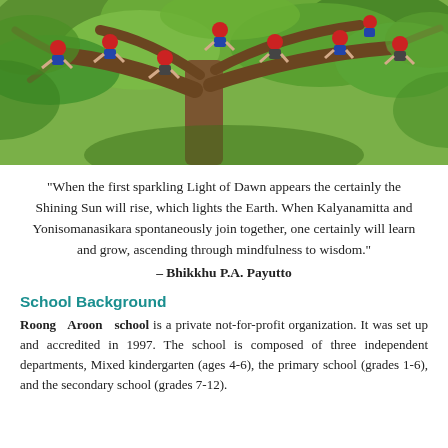[Figure (photo): Children in red uniforms climbing and sitting in the branches of a large tree outdoors, surrounded by green foliage.]
“When the first sparkling Light of Dawn appears the certainly the Shining Sun will rise, which lights the Earth. When Kalyanamitta and Yonisomanasikara spontaneously join together, one certainly will learn and grow, ascending through mindfulness to wisdom.”
– Bhikkhu P.A. Payutto
School Background
Roong Aroon school is a private not-for-profit organization. It was set up and accredited in 1997. The school is composed of three independent departments, Mixed kindergarten (ages 4-6), the primary school (grades 1-6), and the secondary school (grades 7-12).